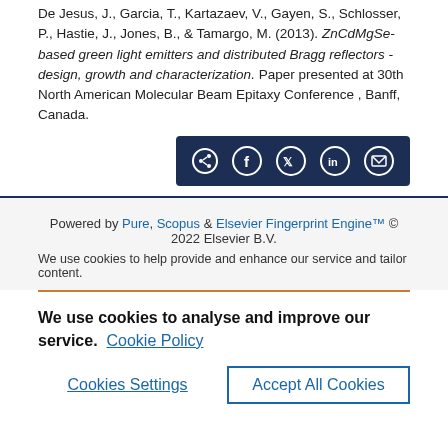De Jesus, J., Garcia, T., Kartazaev, V., Gayen, S., Schlosser, P., Hastie, J., Jones, B., & Tamargo, M. (2013). ZnCdMgSe-based green light emitters and distributed Bragg reflectors - design, growth and characterization. Paper presented at 30th North American Molecular Beam Epitaxy Conference , Banff, Canada.
[Figure (other): Social share button bar with icons for share, Facebook, Twitter, LinkedIn, and email on a dark navy background]
Powered by Pure, Scopus & Elsevier Fingerprint Engine™ © 2022 Elsevier B.V.
We use cookies to help provide and enhance our service and tailor content.
We use cookies to analyse and improve our service. Cookie Policy
Cookies Settings   Accept All Cookies